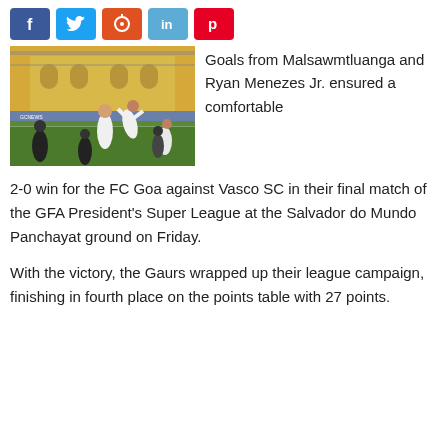[Figure (other): Social media share buttons: Facebook (blue), Twitter (light blue), StumbleUpon (orange-red), LinkedIn (light blue), Pinterest (red)]
[Figure (photo): Football match photo showing FC Goa players in white celebrating a goal against Vasco SC players in black, on a grass pitch with yellow stadium building in background and advertising hoardings.]
Goals from Malsawmtluanga and Ryan Menezes Jr. ensured a comfortable 2-0 win for the FC Goa against Vasco SC in their final match of the GFA President's Super League at the Salvador do Mundo Panchayat ground on Friday.
With the victory, the Gaurs wrapped up their league campaign, finishing in fourth place on the points table with 27 points.